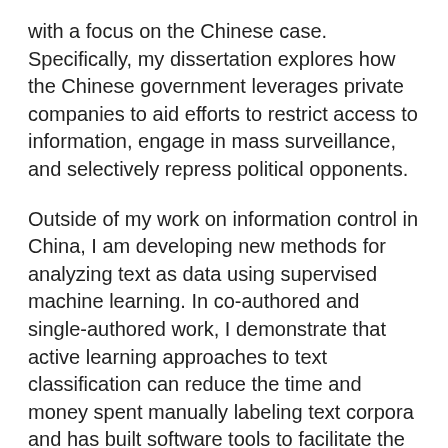with a focus on the Chinese case. Specifically, my dissertation explores how the Chinese government leverages private companies to aid efforts to restrict access to information, engage in mass surveillance, and selectively repress political opponents.
Outside of my work on information control in China, I am developing new methods for analyzing text as data using supervised machine learning. In co-authored and single-authored work, I demonstrate that active learning approaches to text classification can reduce the time and money spent manually labeling text corpora and has built software tools to facilitate the use of these methods by social scientists. I am also currently working on a project to explore how moral and emotional framing in US news media can mobilize individuals to support